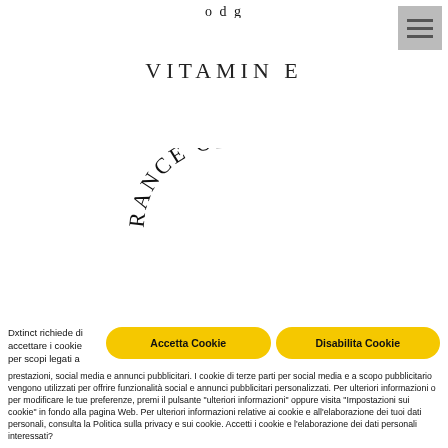[Figure (logo): Curved arc logo text partially visible at top center]
[Figure (screenshot): Hamburger menu button (three horizontal lines) in gray box at top right]
VITAMIN E
[Figure (logo): Curved arc text reading 'RANCE OI' in serif font, arranged in an arc]
Dxtinct richiede di accettare i cookie per scopi legati a prestazioni, social media e annunci pubblicitari. I cookie di terze parti per social media e a scopo pubblicitario vengono utilizzati per offrire funzionalità social e annunci pubblicitari personalizzati. Per ulteriori informazioni o per modificare le tue preferenze, premi il pulsante "ulteriori informazioni" oppure visita "Impostazioni sui cookie" in fondo alla pagina Web. Per ulteriori informazioni relative ai cookie e all'elaborazione dei tuoi dati personali, consulta la Politica sulla privacy e sui cookie. Accetti i cookie e l'elaborazione dei dati personali interessati?
[Figure (screenshot): Yellow rounded button labeled 'Accetta Cookie']
[Figure (screenshot): Yellow rounded button labeled 'Disabilita Cookie']